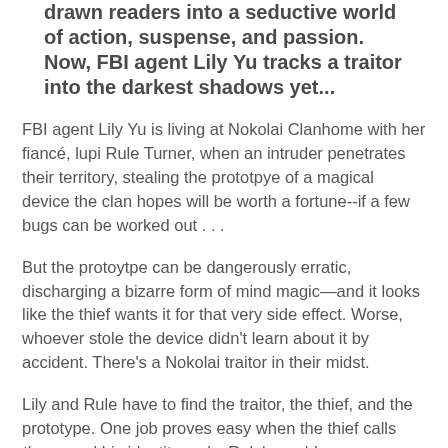drawn readers into a seductive world of action, suspense, and passion. Now, FBI agent Lily Yu tracks a traitor into the darkest shadows yet...
FBI agent Lily Yu is living at Nokolai Clanhome with her fiancé, lupi Rule Turner, when an intruder penetrates their territory, stealing the prototpye of a magical device the clan hopes will be worth a fortune--if a few bugs can be worked out . . .
But the protoytpe can be dangerously erratic, discharging a bizarre form of mind magic—and it looks like the thief wants it for that very side effect. Worse, whoever stole the device didn't learn about it by accident. There's a Nokolai traitor in their midst.
Lily and Rule have to find the traitor, the thief, and the prototype. One job proves easy when the thief calls them--and his identity rocks Rule's world.
As they race to recover their missing property, they find Robert Friar's sticky footprints all over the place. Robert Friar, killer, madman, and acolyte of the Old One the lupi are...